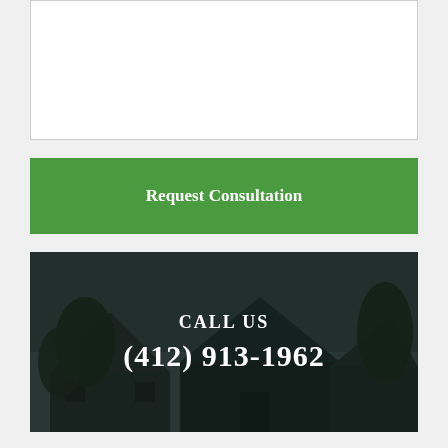[Figure (screenshot): Empty textarea form input box with resize handle in bottom right corner]
Request Consultation
[Figure (photo): Dark overlay photo of residential houses with trees at night or dusk, with 'CALL US' and phone number '(412) 913-1962' overlaid in white serif text]